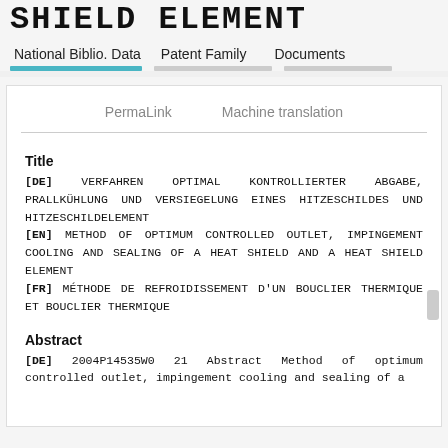SHIELD ELEMENT
National Biblio. Data | Patent Family | Documents
PermaLink   Machine translation
Title
[DE] VERFAHREN OPTIMAL KONTROLLIERTER ABGABE, PRALLKÜHLUNG UND VERSIEGELUNG EINES HITZESCHILDES UND HITZESCHILDELEMENT [EN] METHOD OF OPTIMUM CONTROLLED OUTLET, IMPINGEMENT COOLING AND SEALING OF A HEAT SHIELD AND A HEAT SHIELD ELEMENT [FR] MÉTHODE DE REFROIDISSEMENT D'UN BOUCLIER THERMIQUE ET BOUCLIER THERMIQUE
Abstract
[DE] 2004P14535W0 21 Abstract Method of optimum controlled outlet, impingement cooling and sealing of a